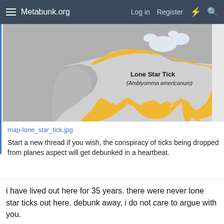Metabunk.org  Log in  Register
[Figure (map): Map showing the range of the Lone Star Tick (Amblyomma americanum) in the eastern United States and parts of Mexico, highlighted in yellow/gold against a gray background of North America.]
map-lone_star_tick.jpg
Start a new thread if you wish, the conspiracy of ticks being dropped from planes aspect will get debunked in a heartbeat.
i have lived out here for 35 years. there were never lone star ticks out here. debunk away, i do not care to argue with you.